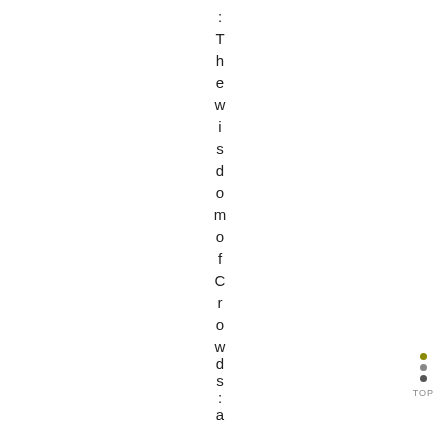: The wisdom of Crowds: attacks a
[Figure (other): Three colored dots (olive, gray, dark) stacked vertically with TOP label below, serving as a navigation indicator in the bottom-right corner]